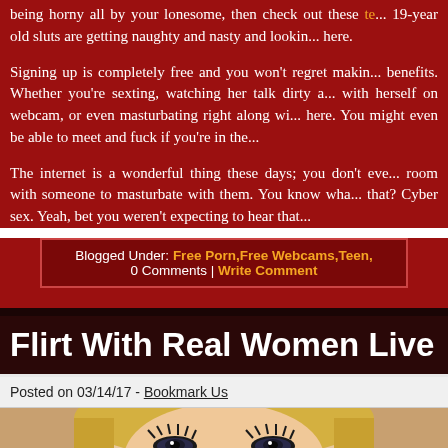being horny all by your lonesome, then check out these te... 19-year old sluts are getting naughty and nasty and lookin... here.
Signing up is completely free and you won't regret makin... benefits. Whether you're sexting, watching her talk dirty a... with herself on webcam, or even masturbating right along wi... here. You might even be able to meet and fuck if you're in the...
The internet is a wonderful thing these days; you don't eve... room with someone to masturbate with them. You know wha... that? Cyber sex. Yeah, bet you weren't expecting to hear that...
Blogged Under: Free Porn, Free Webcams, Teen,
0 Comments | Write Comment
Flirt With Real Women Live On Their M
Posted on 03/14/17 - Bookmark Us
[Figure (photo): Close-up photo of a blonde woman's face with dramatic eye makeup]